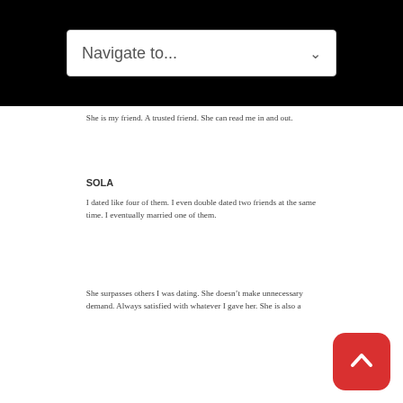Navigate to...
She is my friend. A trusted friend. She can read me in and out.
SOLA
I dated like four of them. I even double dated two friends at the same time. I eventually married one of them.
She surpasses others I was dating. She doesn’t make unnecessary demand. Always satisfied with whatever I gave her. She is also a